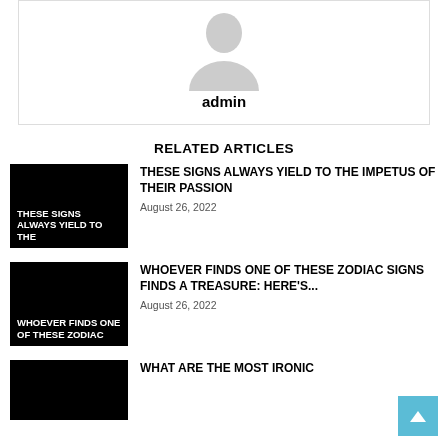[Figure (illustration): Generic admin user avatar icon (gray silhouette) inside a bordered card]
admin
RELATED ARTICLES
[Figure (illustration): Black thumbnail image with white bold text: THESE SIGNS ALWAYS YIELD TO THE]
THESE SIGNS ALWAYS YIELD TO THE IMPETUS OF THEIR PASSION
August 26, 2022
[Figure (illustration): Black thumbnail image with white bold text: WHOEVER FINDS ONE OF THESE ZODIAC]
WHOEVER FINDS ONE OF THESE ZODIAC SIGNS FINDS A TREASURE: HERE'S...
August 26, 2022
[Figure (illustration): Black thumbnail image for third article]
WHAT ARE THE MOST IRONIC